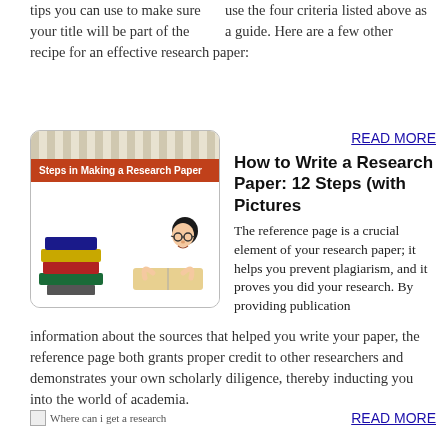use the four criteria listed above as a guide. Here are a few other tips you can use to make sure your title will be part of the recipe for an effective research paper:
[Figure (illustration): Card showing 'Steps in Making a Research Paper' with an image of stacked books and a cartoon person reading]
READ MORE
How to Write a Research Paper: 12 Steps (with Pictures
The reference page is a crucial element of your research paper; it helps you prevent plagiarism, and it proves you did your research. By providing publication information about the sources that helped you write your paper, the reference page both grants proper credit to other researchers and demonstrates your own scholarly diligence, thereby inducting you into the world of academia.
[Figure (illustration): Where can i get a research - image placeholder]
READ MORE